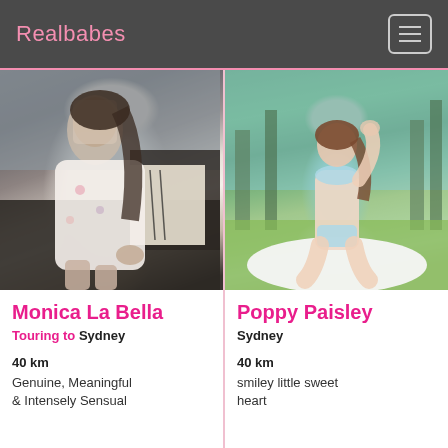Realbabes
[Figure (photo): Woman in floral dress seated on dark couch indoors, face blurred]
Monica La Bella
Touring to Sydney
40 km
Genuine, Meaningful & Intensely Sensual
[Figure (photo): Woman in light blue bikini kneeling outdoors on white blanket in grassy area with trees]
Poppy Paisley
Sydney
40 km
smiley little sweet heart